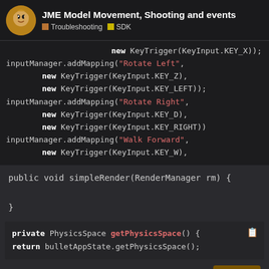JME Model Movement, Shooting and events | Troubleshooting | SDK
[Figure (screenshot): Dark-themed code editor showing Java code: inputManager.addMapping calls with KeyTrigger arguments for Rotate Left, Rotate Right, and Walk Forward key bindings.]
public void simpleRender(RenderManager rm) {
}
[Figure (screenshot): Dark-themed code block: private PhysicsSpace getPhysicsSpace() { return bulletAppState.getPhysicsSpace(); }]
}
1 / 7